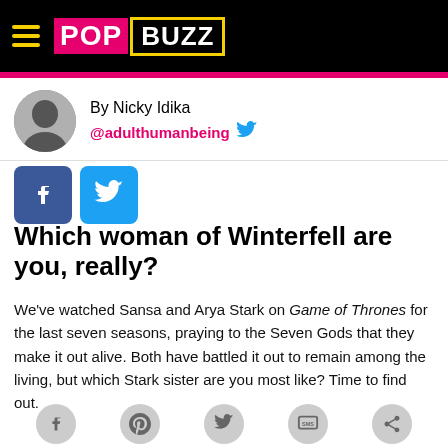POPBUZZ
By Nicky Idika @adulthumanbeing
Which woman of Winterfell are you, really?
We've watched Sansa and Arya Stark on Game of Thrones for the last seven seasons, praying to the Seven Gods that they make it out alive. Both have battled it out to remain among the living, but which Stark sister are you most like? Time to find out.